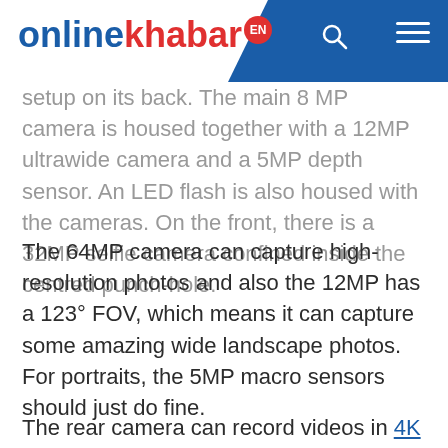onlinekhabar EN
setup on its back. The main 8 MP camera is housed together with a 12MP ultrawide camera and a 5MP depth sensor. An LED flash is also housed with the cameras. On the front, there is a 32MP selfie camera confined inside the centred punch-hole.
The 64MP camera can capture high-resolution photos and also the 12MP has a 123° FOV, which means it can capture some amazing wide landscape photos. For portraits, the 5MP macro sensors should just do fine.
The rear camera can record videos in 4K at